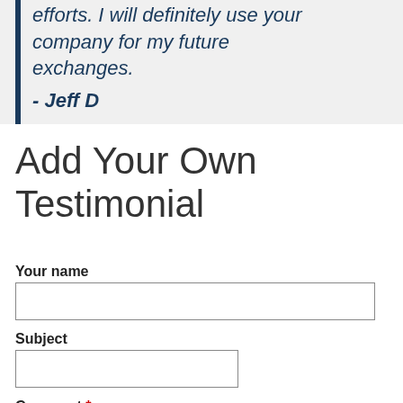efforts. I will definitely use your company for my future exchanges. - Jeff D
Add Your Own Testimonial
Your name
Subject
Comment *